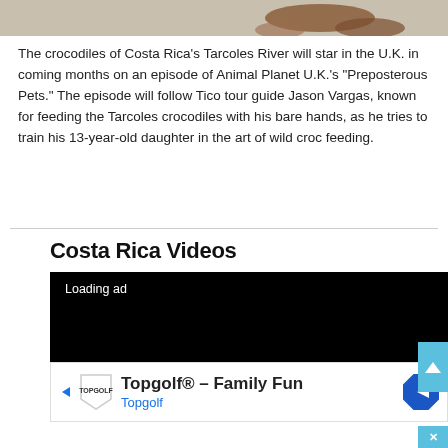[Figure (photo): Top portion of a photo showing crocodiles or water with muddy/sandy surface, brown and beige tones]
The crocodiles of Costa Rica's Tarcoles River will star in the U.K. in coming months on an episode of Animal Planet U.K.'s "Preposterous Pets." The episode will follow Tico tour guide Jason Vargas, known for feeding the Tarcoles crocodiles with his bare hands, as he tries to train his 13-year-old daughter in the art of wild croc feeding.
Costa Rica Videos
[Figure (screenshot): Black video player with 'Loading ad' text]
[Figure (infographic): Advertisement banner for Topgolf Family Fun with Topgolf logo and navigation arrow]